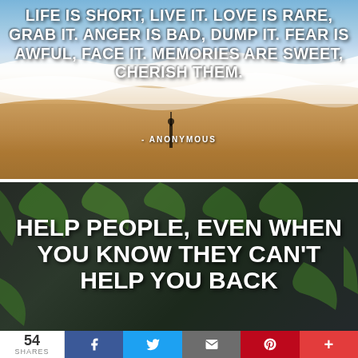[Figure (photo): Aerial beach photo with waves and sandy shore, person standing on beach as silhouette. White bold text overlay with motivational quote and anonymous attribution.]
LIFE IS SHORT, LIVE IT. LOVE IS RARE, GRAB IT. ANGER IS BAD, DUMP IT. FEAR IS AWFUL, FACE IT. MEMORIES ARE SWEET, CHERISH THEM.
- ANONYMOUS
[Figure (photo): Dark background with green cannabis/fern leaves, bold white text overlay with motivational quote about helping people.]
HELP PEOPLE, EVEN WHEN YOU KNOW THEY CAN'T HELP YOU BACK
54 SHARES | Facebook | Twitter | Email | Pinterest | More